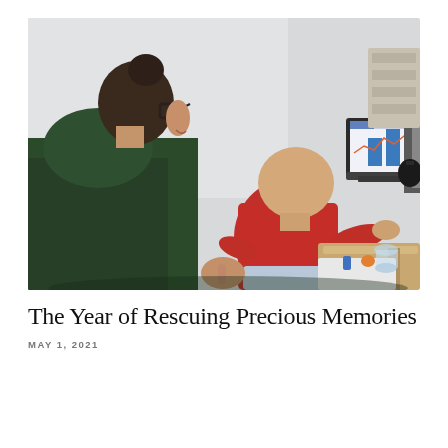[Figure (photo): A woman wearing glasses and a dark green hoodie sits at a desk holding a baby in a red outfit. The baby reaches toward a laptop computer displaying a data chart with blue bars. A wooden desk with various items is visible in the background.]
The Year of Rescuing Precious Memories
MAY 1, 2021